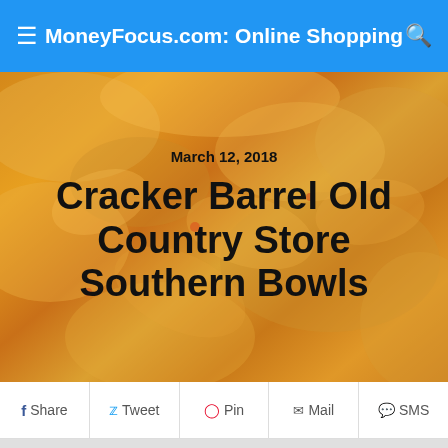MoneyFocus.com: Online Shopping
[Figure (photo): Close-up food photo of cheesy Southern-style dishes, orange/yellow tones, serving as hero background image]
March 12, 2018
Cracker Barrel Old Country Store Southern Bowls
Share | Tweet | Pin | Mail | SMS
[Figure (infographic): Row of social media share buttons: Facebook, Twitter, Pinterest, Tumblr, Reddit, Messenger, Print, Add]
Cracker Barrel Old Country Store® announced the introduction of seasonal Southern Bowls that serve up multiple flavors in one dish, whether at breakfast, lunch